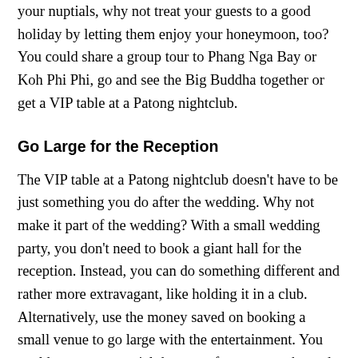your nuptials, why not treat your guests to a good holiday by letting them enjoy your honeymoon, too? You could share a group tour to Phang Nga Bay or Koh Phi Phi, go and see the Big Buddha together or get a VIP table at a Patong nightclub.
Go Large for the Reception
The VIP table at a Patong nightclub doesn't have to be just something you do after the wedding. Why not make it part of the wedding? With a small wedding party, you don't need to book a giant hall for the reception. Instead, you can do something different and rather more extravagant, like holding it in a club. Alternatively, use the money saved on booking a small venue to go large with the entertainment. You could arrange a special dance performance, a themed entertainer, a murder mystery game – anything!